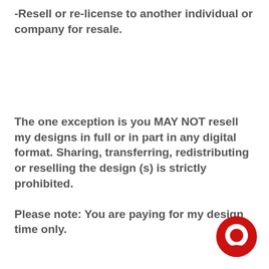-Resell or re-license to another individual or company for resale.
The one exception is you MAY NOT resell my designs in full or in part in any digital format. Sharing, transferring, redistributing or reselling the design (s) is strictly prohibited.
Please note: You are paying for my design time only.
[Figure (logo): Red circular logo with white inner circle cutout, resembling a chat bubble or letter O]